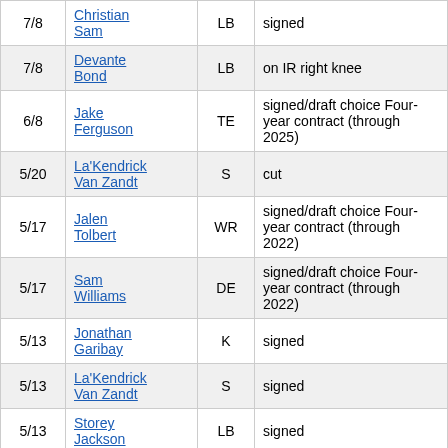| Date | Name | Pos | Note |
| --- | --- | --- | --- |
| 7/8 | Christian Sam | LB | signed |
| 7/8 | Devante Bond | LB | on IR right knee |
| 6/8 | Jake Ferguson | TE | signed/draft choice Four-year contract (through 2025) |
| 5/20 | La'Kendrick Van Zandt | S | cut |
| 5/17 | Jalen Tolbert | WR | signed/draft choice Four-year contract (through 2022) |
| 5/17 | Sam Williams | DE | signed/draft choice Four-year contract (through 2022) |
| 5/13 | Jonathan Garibay | K | signed |
| 5/13 | La'Kendrick Van Zandt | S | signed |
| 5/13 | Storey Jackson | LB | signed |
| 5/13 | Markaviest Bryant | DE | signed |